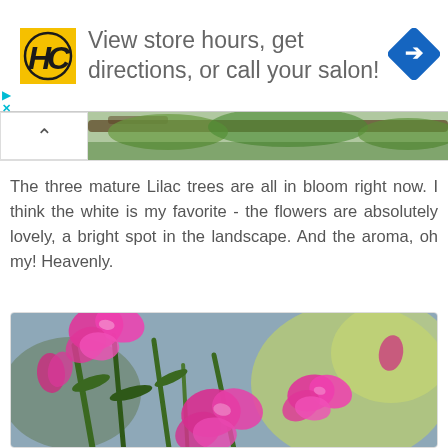[Figure (other): Advertisement banner: HC logo (yellow square with HC letters), text 'View store hours, get directions, or call your salon!', blue navigation diamond icon on the right]
[Figure (photo): Narrow horizontal strip showing a green tree branch/foliage]
The three mature Lilac trees are all in bloom right now. I think the white is my favorite - the flowers are absolutely lovely, a bright spot in the landscape. And the aroma, oh my! Heavenly.
[Figure (photo): Close-up photograph of bright pink carnation or dianthus flowers with green stems and leaves, blurred green bokeh background]